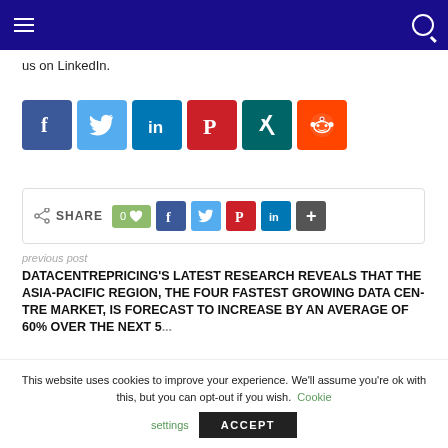us on LinkedIn.
[Figure (other): Social media share icons: Facebook, Twitter, LinkedIn, Pinterest, Xing, Reddit]
[Figure (other): Share bar with like button and social share buttons: Facebook, Twitter, Pinterest, LinkedIn, More]
previous post
DATACENTREPRICING'S LATEST RESEARCH REVEALS THAT THE ASIA-PACIFIC REGION, THE FOUR FASTEST GROWING DATA CEN-TRE MARKET, IS FORECAST TO INCREASE BY AN AVERAGE OF 60% OVER THE NEXT 5...
This website uses cookies to improve your experience. We'll assume you're ok with this, but you can opt-out if you wish. Cookie settings ACCEPT